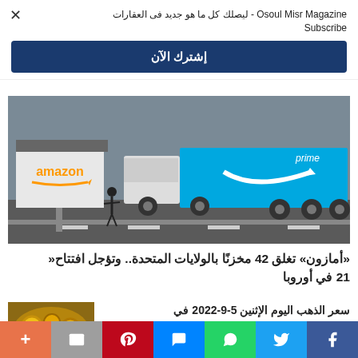Osoul Misr Magazine - ليصلك كل ما هو جديد فى العقارات Subscribe
إشترك الآن
[Figure (photo): Amazon Prime delivery truck passing by an Amazon warehouse sign on a street]
«أمازون» تغلق 42 مخزنًا بالولايات المتحدة.. وتؤجل افتتاح «21 في أوروبا
[Figure (photo): Gold jewelry displayed at a market stall]
سعر الذهب اليوم الإثنين 5-9-2022 في مصر